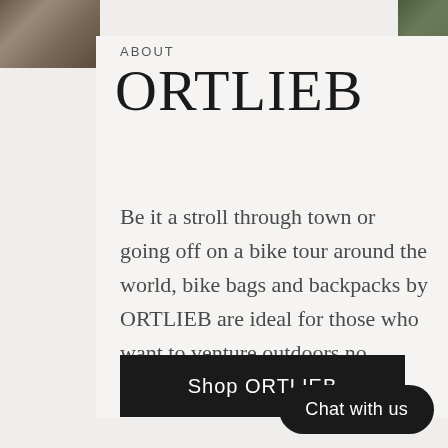[Figure (photo): Two photo strips at top — left shows a textured outdoor/nature scene, right shows a green foliage scene]
ABOUT
ORTLIEB
Be it a stroll through town or going off on a bike tour around the world, bike bags and backpacks by ORTLIEB are ideal for those who want to venture outdoors no matter what the weather.
Shop ORTLIEB
Chat with us